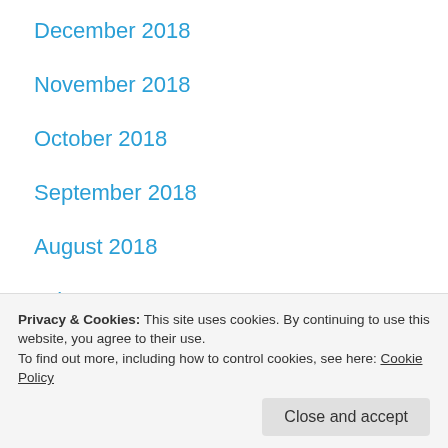December 2018
November 2018
October 2018
September 2018
August 2018
July 2018
June 2018
May 2018
April 2018
Privacy & Cookies: This site uses cookies. By continuing to use this website, you agree to their use.
To find out more, including how to control cookies, see here: Cookie Policy
December 2017